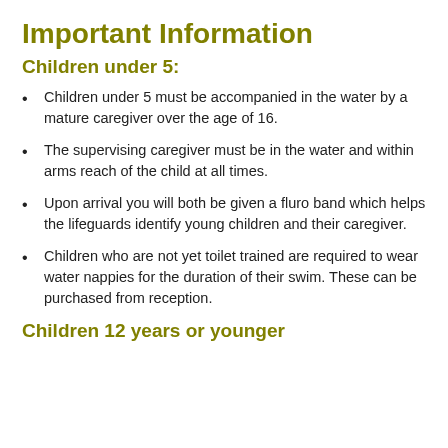Important Information
Children under 5:
Children under 5 must be accompanied in the water by a mature caregiver over the age of 16.
The supervising caregiver must be in the water and within arms reach of the child at all times.
Upon arrival you will both be given a fluro band which helps the lifeguards identify young children and their caregiver.
Children who are not yet toilet trained are required to wear water nappies for the duration of their swim. These can be purchased from reception.
Children 12 years or younger